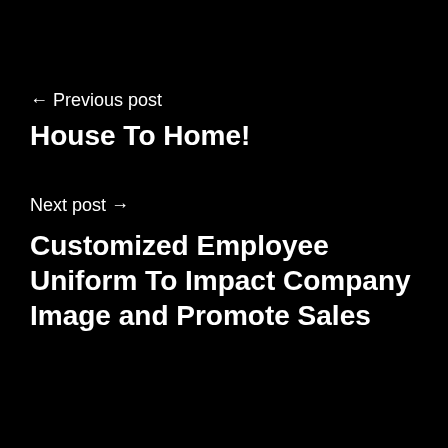← Previous post
House To Home!
Next post →
Customized Employee Uniform To Impact Company Image and Promote Sales